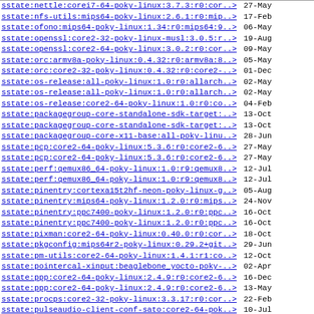| Name | Last modified |
| --- | --- |
| sstate:nettle:corei7-64-poky-linux:3.7.3:r0:cor..> | 27-May |
| sstate:nfs-utils:mips64-poky-linux:2.6.1:r0:mip..> | 17-Feb |
| sstate:ofono:mips64-poky-linux:1.34:r0:mips64:9..> | 06-May |
| sstate:openssl:core2-32-poky-linux-musl:3.0.5:r..> | 19-Aug |
| sstate:openssl:core2-64-poky-linux:3.0.2:r0:cor..> | 09-May |
| sstate:orc:armv8a-poky-linux:0.4.32:r0:armv8a:8..> | 05-May |
| sstate:orc:core2-32-poky-linux:0.4.32:r0:core2-..> | 01-Dec |
| sstate:os-release:all-poky-linux:1.0:r0:allarch..> | 02-May |
| sstate:os-release:all-poky-linux:1.0:r0:allarch..> | 02-May |
| sstate:os-release:core2-64-poky-linux:1.0:r0:co..> | 04-Feb |
| sstate:packagegroup-core-standalone-sdk-target:..> | 13-Oct |
| sstate:packagegroup-core-standalone-sdk-target:..> | 13-Oct |
| sstate:packagegroup-core-x11-base:all-poky-linu..> | 28-Jun |
| sstate:pcp:core2-64-poky-linux:5.3.6:r0:core2-6..> | 27-May |
| sstate:pcp:core2-64-poky-linux:5.3.6:r0:core2-6..> | 27-May |
| sstate:perf:qemux86_64-poky-linux:1.0:r9:qemux8..> | 12-Jul |
| sstate:perf:qemux86_64-poky-linux:1.0:r9:qemux8..> | 12-Jul |
| sstate:pinentry:cortexa15t2hf-neon-poky-linux-g..> | 05-Aug |
| sstate:pinentry:mips64-poky-linux:1.2.0:r0:mips..> | 24-Nov |
| sstate:pinentry:ppc7400-poky-linux:1.2.0:r0:ppc..> | 16-Oct |
| sstate:pinentry:ppc7400-poky-linux:1.2.0:r0:ppc..> | 16-Oct |
| sstate:pixman:core2-64-poky-linux:0.40.0:r0:cor..> | 18-Oct |
| sstate:pkgconfig:mips64r2-poky-linux:0.29.2+git..> | 29-Jun |
| sstate:pm-utils:core2-64-poky-linux:1.4.1:r1:co..> | 12-Oct |
| sstate:pointercal-xinput:beaglebone_yocto-poky-..> | 02-Apr |
| sstate:ppp:core2-64-poky-linux:2.4.9:r0:core2-6..> | 16-Dec |
| sstate:ppp:core2-64-poky-linux:2.4.9:r0:core2-6..> | 13-May |
| sstate:procps:core2-32-poky-linux:3.3.17:r0:cor..> | 22-Feb |
| sstate:pulseaudio-client-conf-sato:core2-64-pok..> | 10-Jul |
| sstate:pulseaudio:core2-64-poky-linux:16.1:r0:c..> | 27-Jul |